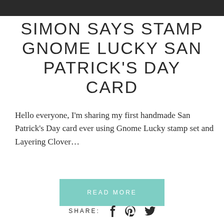[Figure (photo): Dark textured background image at top of page]
SIMON SAYS STAMP GNOME LUCKY SAN PATRICK'S DAY CARD
Hello everyone, I'm sharing my first handmade San Patrick's Day card ever using Gnome Lucky stamp set and Layering Clover…
READ MORE
SHARE: